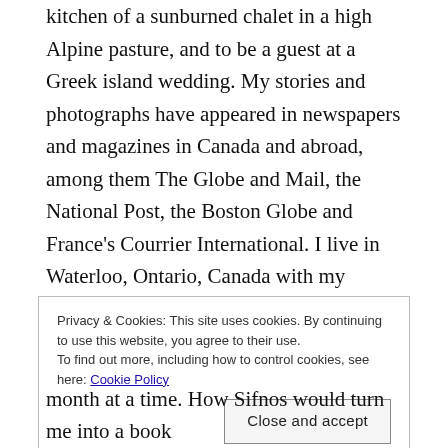kitchen of a sunburned chalet in a high Alpine pasture, and to be a guest at a Greek island wedding. My stories and photographs have appeared in newspapers and magazines in Canada and abroad, among them The Globe and Mail, the National Post, the Boston Globe and France's Courrier International. I live in Waterloo, Ontario, Canada with my photographer husband and fellow traveller, Jim Blomfield.
The year 2006 brought us to Greece for the first time, to the island of Sifnos. It was meant to be a one-time visit
Privacy & Cookies: This site uses cookies. By continuing to use this website, you agree to their use.
To find out more, including how to control cookies, see here: Cookie Policy
Close and accept
month at a time. How Sifnos would turn me into a book